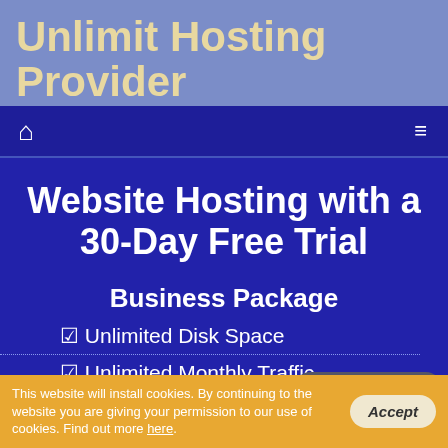Unlimit Hosting Provider
[Figure (screenshot): Navigation bar with home icon and hamburger menu icon on dark blue background]
Website Hosting with a 30-Day Free Trial
Business Package
Unlimited Disk Space
Unlimited Monthly Traffic
5 Hosted Domain(s)
[Figure (illustration): Live Chat speech bubble widget in dark gray]
This website will install cookies. By continuing to the website you are giving your permission to our use of cookies. Find out more here.